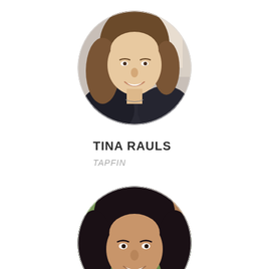[Figure (photo): Circular profile photo of Tina Rauls, a woman with brown shoulder-length hair, smiling, wearing a dark top.]
TINA RAULS
TAPFIN
[Figure (photo): Circular profile photo of a woman with long dark black hair, smiling, with a green outdoor background.]